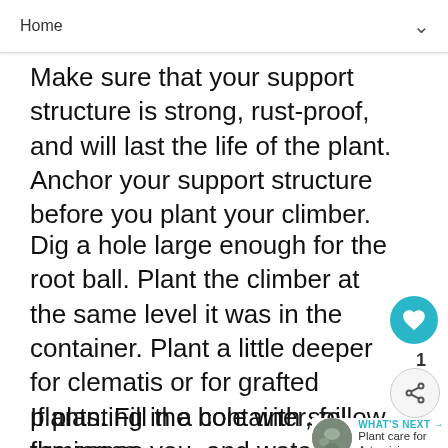Home
pa…s. Make sure that your support structure is strong, rust-proof, and will last the life of the plant. Anchor your support structure before you plant your climber.
Dig a hole large enough for the root ball. Plant the climber at the same level it was in the container. Plant a little deeper for clematis or for grafted plants. Fill the hole with soil, firming as you, and water well. As soon as the stems are long enough to reach their support structure, gently and loosely tie them as necessary.
If planting in a container, follow the same guidelines. Plan ahead by adding a trellis to…
WHAT'S NEXT → Plant care for Artemisia...